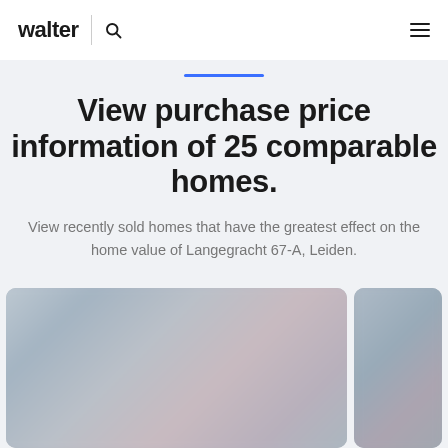walter
View purchase price information of 25 comparable homes.
View recently sold homes that have the greatest effect on the home value of Langegracht 67-A, Leiden.
[Figure (photo): Two blurred property/home images shown side by side at the bottom of the page]